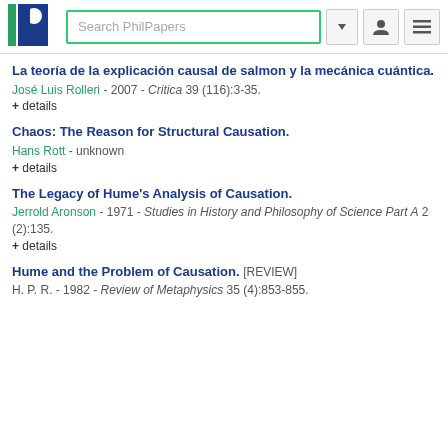Search PhilPapers
La teoría de la explicación causal de salmon y la mecánica cuántica.
José Luis Rolleri - 2007 - Critica 39 (116):3-35.
+ details
Chaos: The Reason for Structural Causation.
Hans Rott - unknown
+ details
The Legacy of Hume's Analysis of Causation.
Jerrold Aronson - 1971 - Studies in History and Philosophy of Science Part A 2 (2):135.
+ details
Hume and the Problem of Causation. [REVIEW]
H. P. R. - 1982 - Review of Metaphysics 35 (4):853-855.